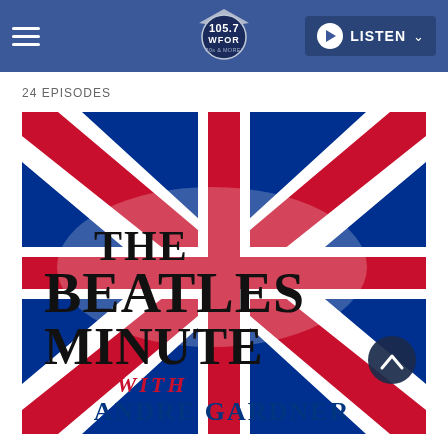105.7 WFOR 80s & MORE! — LISTEN
24 EPISODES
[Figure (photo): The Beatles Minute with Andre Gardner show art — text overlaid on a Union Jack (UK flag) background with red, white, and blue. Large bold text reads THE BEATLES MINUTE, below that in red italic WITH, and below that in blue ANDRE GARDNER.]